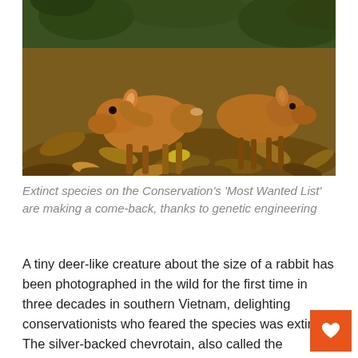[Figure (photo): Camera trap photo of two small deer-like animals (silver-backed chevrotain / Vietnamese mouse deer) on a forest floor covered in dry leaves and leaf litter. The animals are brown/reddish-brown in color, roughly rabbit-sized.]
Extinct species on the Conservation's 'Most Wanted List' are making a come-back, thanks to genetic engineering
A tiny deer-like creature about the size of a rabbit has been photographed in the wild for the first time in three decades in southern Vietnam, delighting conservationists who feared the species was extinct. The silver-backed chevrotain, also called the Vietnamese mouse deer, was last recorded more than 25 years ago when a team of Vietnamese and Russian researchers obtained a dead chevrotain from a hunter.